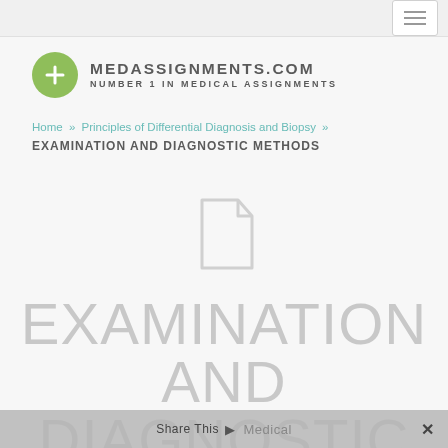[Figure (logo): MedAssignments.com logo with green circle plus icon and site name/tagline]
Home » Principles of Differential Diagnosis and Biopsy » EXAMINATION AND DIAGNOSTIC METHODS
[Figure (illustration): Grey document/file icon placeholder]
EXAMINATION AND DIAGNOSTIC METHODS
Share This Medical ×